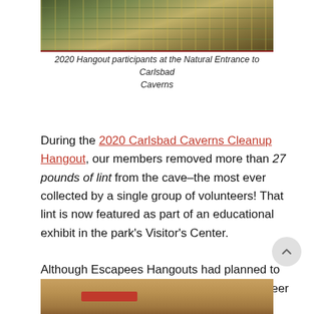[Figure (photo): Photo of 2020 Hangout participants wearing yellow safety vests at the Natural Entrance to Carlsbad Caverns]
2020 Hangout participants at the Natural Entrance to Carlsbad Caverns
During the 2020 Carlsbad Caverns Cleanup Hangout, our members removed more than 27 pounds of lint from the cave–the most ever collected by a single group of volunteers! That lint is now featured as part of an educational exhibit in the park's Visitor's Center.
Although Escapees Hangouts had planned to return to Carlsbad in 2021, the park's volunteer program was suspended due to the COVID pandemic. As a result, there is now two years' worth of lint accumulated on the cavern's formations and trails!
[Figure (photo): Partial photo visible at bottom of page showing brown/tan surface with red object]